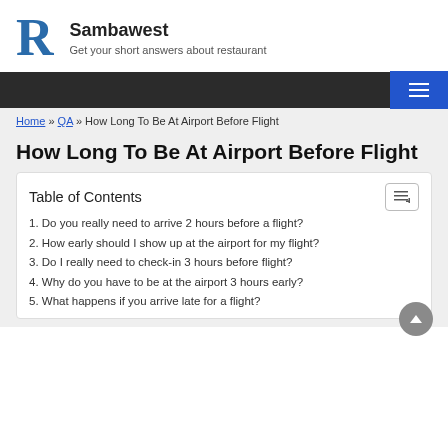Sambawest — Get your short answers about restaurant
How Long To Be At Airport Before Flight
1. Do you really need to arrive 2 hours before a flight?
2. How early should I show up at the airport for my flight?
3. Do I really need to check-in 3 hours before flight?
4. Why do you have to be at the airport 3 hours early?
5. What happens if you arrive late for a flight?